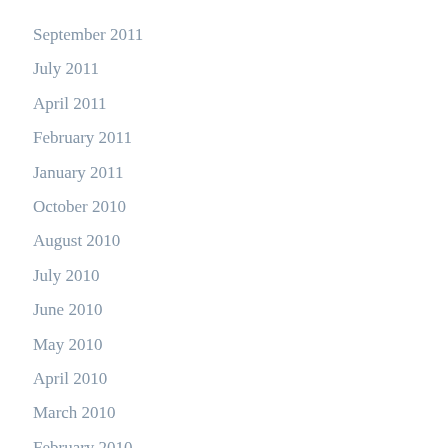September 2011
July 2011
April 2011
February 2011
January 2011
October 2010
August 2010
July 2010
June 2010
May 2010
April 2010
March 2010
February 2010